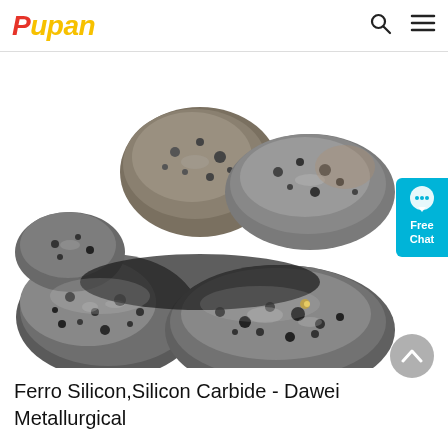Pupan
[Figure (photo): Multiple lumps of ferro silicon / silicon carbide material, showing dark grey porous rocky chunks with metallic sheen, arranged in a cluster on white background]
Ferro Silicon,Silicon Carbide - Dawei Metallurgical